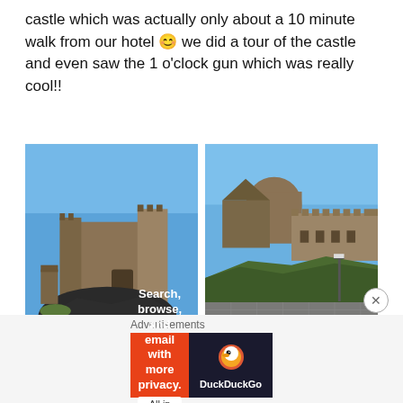castle which was actually only about a 10 minute walk from our hotel 😊 we did a tour of the castle and even saw the 1 o'clock gun which was really cool!!
[Figure (photo): Two side-by-side photos of Edinburgh Castle. Left photo shows the castle gatehouse and walls on rocky volcanic basalt outcrop under a clear blue sky. Right photo shows the round tower and battlements of the castle on a rocky hill with cobblestone esplanade in the foreground, under a clear blue sky.]
Advertisements
[Figure (screenshot): DuckDuckGo advertisement banner: orange background with text 'Search, browse, and email with more privacy. All in One Free App' and DuckDuckGo duck logo on dark background.]